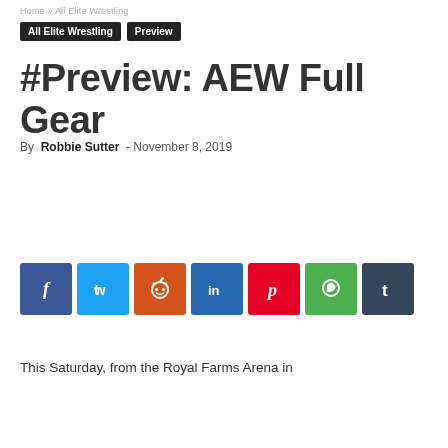Home » All Elite Wrestling
All Elite Wrestling   Preview
#Preview: AEW Full Gear
By Robbie Sutter  -  November 8, 2019
[Figure (infographic): Social sharing buttons: Facebook (blue), Twitter (light blue), Reddit (orange), LinkedIn (dark blue), Pinterest (red), WhatsApp (green), Tumblr (dark slate)]
This Saturday, from the Royal Farms Arena in